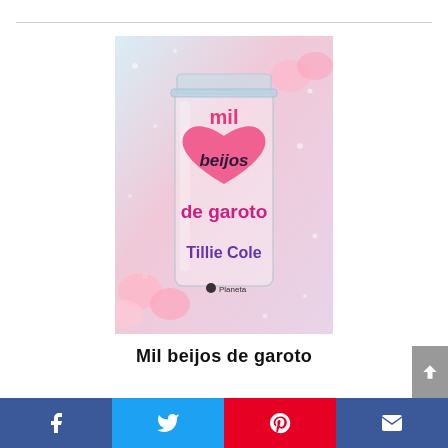[Figure (illustration): Book cover for 'Mil beijos de garoto' by Tillie Cole, published by Planeta. Shows a glass mason jar on a pink floral background with water drops. Inside the jar, the title text is displayed over a pink heart shape. 'mil' in pink, 'beijos' in dark text on heart, 'de garoto' in magenta/pink below. Author name 'Tillie Cole' in purple at bottom. Planeta publisher logo at bottom of jar.]
Mil beijos de garoto